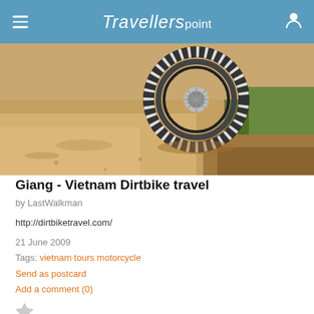Travellerspoint
[Figure (photo): Close-up of a motorcycle wheel on a dirt trail, with dry vegetation and green shrubs in background]
Giang - Vietnam Dirtbike travel
by LastWalkman
http://dirtbiketravel.com/
21 June 2009
Tags: vietnam tours motorcycle
Send as postcard
Add a comment (0)